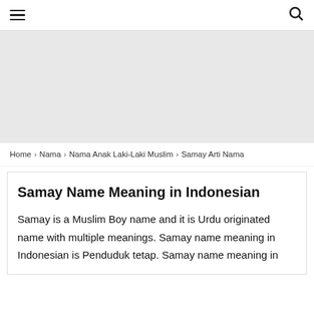☰  🔍
[Figure (other): Gray advertisement banner area]
Home › Nama › Nama Anak Laki-Laki Muslim › Samay Arti Nama
Samay Name Meaning in Indonesian
Samay is a Muslim Boy name and it is Urdu originated name with multiple meanings. Samay name meaning in Indonesian is Penduduk tetap. Samay name meaning in